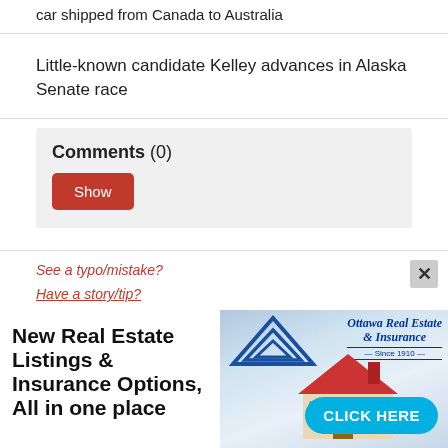car shipped from Canada to Australia
Little-known candidate Kelley advances in Alaska Senate race
Comments (0)
Show
See a typo/mistake?
Have a story/tip?
[Figure (photo): Advertisement banner for Ottawa Real Estate & Insurance featuring text 'New Real Estate Listings & Insurance Options, All in one place' with a logo showing blue triangles and the text 'Ottawa Real Estate & Insurance Since 1910', a photo of a person holding a model house, and a 'CLICK HERE' button]